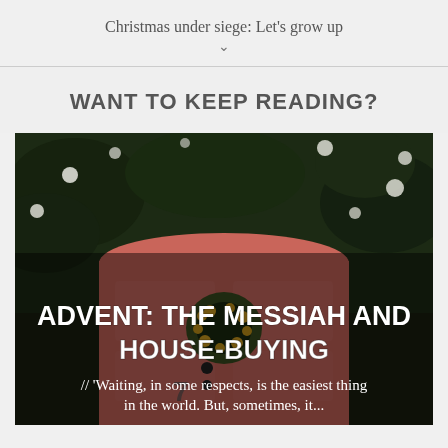Christmas under siege: Let's grow up
WANT TO KEEP READING?
[Figure (photo): Photo of a pink front door with a yellow floral wreath, surrounded by greenery and flowers, with a house number 7 visible, overlaid with text about Advent and house-buying.]
ADVENT: THE MESSIAH AND HOUSE-BUYING
// 'Waiting, in some respects, is the easiest thing in the world. But, sometimes, it...